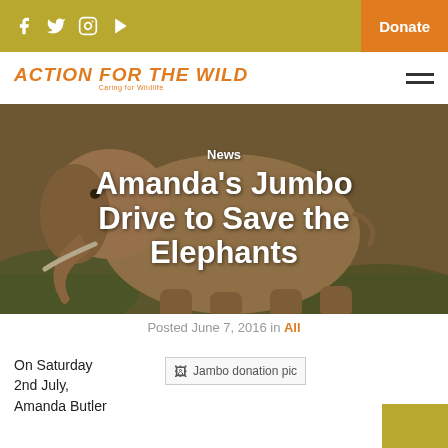Action for the Wild – navigation bar with social icons and Donate button
Action for the Wild
[Figure (photo): Large elephant photograph used as hero background image with overlay text 'News' and 'Amanda's Jumbo Drive to Save the Elephants']
News
Amanda's Jumbo Drive to Save the Elephants
Posted June 7, 2016 in All
On Saturday 2nd July, Amanda Butler
[Figure (photo): Broken image placeholder labeled 'Jambo donation pic']